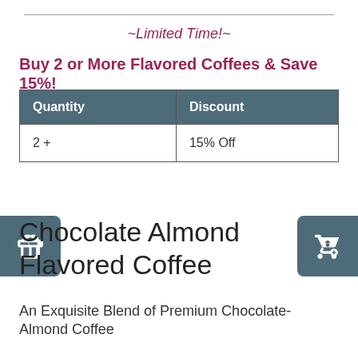~Limited Time!~
Buy 2 or More Flavored Coffees & Save 15%!
| Quantity | Discount |
| --- | --- |
| 2 + | 15% Off |
Chocolate Almond Flavored Coffee
An Exquisite Blend of Premium Chocolate-Almond Coffee